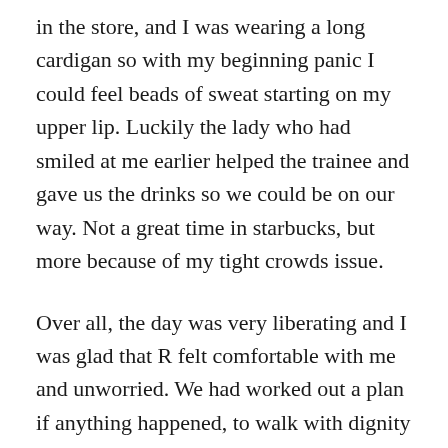in the store, and I was wearing a long cardigan so with my beginning panic I could feel beads of sweat starting on my upper lip. Luckily the lady who had smiled at me earlier helped the trainee and gave us the drinks so we could be on our way. Not a great time in starbucks, but more because of my tight crowds issue.
Over all, the day was very liberating and I was glad that R felt comfortable with me and unworried. We had worked out a plan if anything happened, to walk with dignity straight to our car and leave if there were any issues. We weren't going to scamper off or cause a scene, but we would not put up with my being called out. Luckily, this didn't happen and it was a